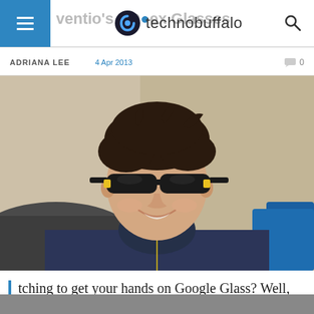technobuffalo
ADRIANA LEE   4 Apr 2013   0
[Figure (photo): A young man with dark hair wearing black sunglasses and a dark navy blue zip-up fleece jacket, smiling, seated indoors against a light wall with a dark couch visible. Sunglasses have yellow accent marks on the temples.]
tching to get your hands on Google Glass? Well, it will be a little while longer compatibility ends for it